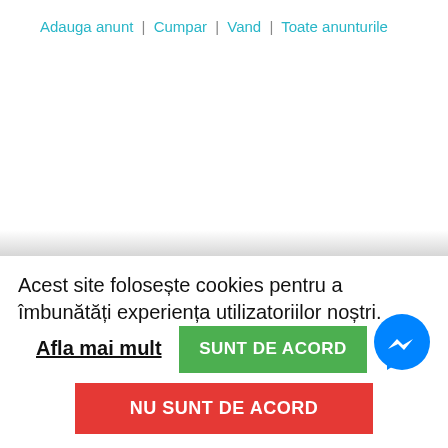Adauga anunt | Cumpar | Vand | Toate anunturile
Acest site folosește cookies pentru a îmbunătăți experiența utilizatoriilor noștri.
Afla mai mult
SUNT DE ACORD
NU SUNT DE ACORD